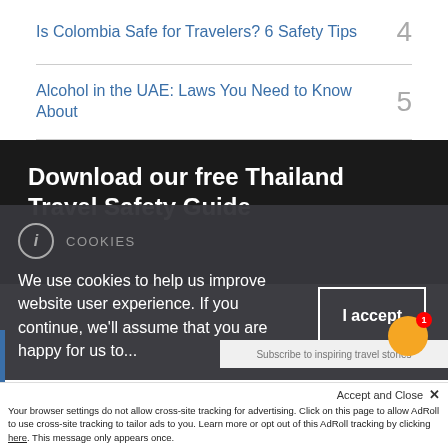Is Colombia Safe for Travelers? 6 Safety Tips  4
Alcohol in the UAE: Laws You Need to Know About  5
Download our free Thailand Travel Safety Guide
COOKIES
We use cookies to help us improve website user experience. If you continue, we'll assume that you are happy for us to...
I accept
Accept and Close ×
Your browser settings do not allow cross-site tracking for advertising. Click on this page to allow AdRoll to use cross-site tracking to tailor ads to you. Learn more or opt out of this AdRoll tracking by clicking here. This message only appears once.